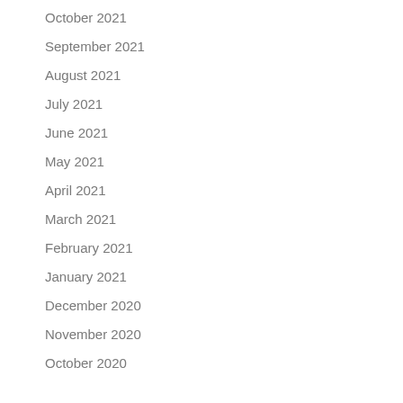October 2021
September 2021
August 2021
July 2021
June 2021
May 2021
April 2021
March 2021
February 2021
January 2021
December 2020
November 2020
October 2020